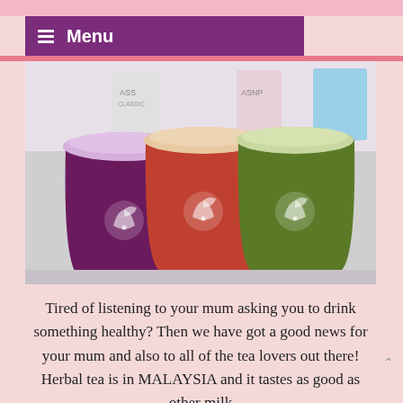Menu
[Figure (photo): Three branded tea/juice drinks in clear plastic cups with lids: a purple/dark berry drink on the left, a red/orange tea in the middle, and a green matcha drink on the right. Each cup has a white bird-and-leaf logo on it. Background shows shelves with colorful products.]
Tired of listening to your mum asking you to drink something healthy? Then we have got a good news for your mum and also to all of the tea lovers out there! Herbal tea is in MALAYSIA and it tastes as good as other milk